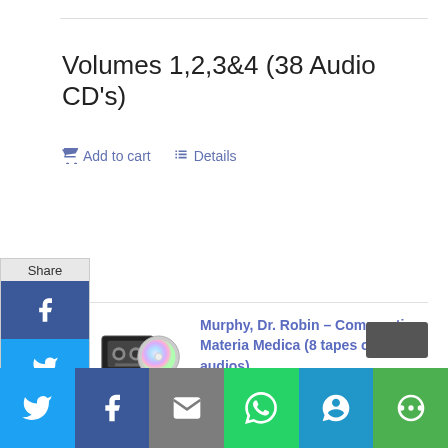Volumes 1,2,3&4 (38 Audio CD's)
Add to cart   Details
[Figure (screenshot): Share sidebar with Facebook, Twitter, LinkedIn, Email, Share, and Pinterest buttons]
[Figure (photo): Cassette tape and CD disc product image]
Murphy, Dr. Robin – Comparative Materia Medica (8 tapes or CD-audios)
$90.00
obin Murphy, ND
[Figure (screenshot): Bottom share bar with Twitter, Facebook, Email, WhatsApp, SMS, and More buttons]